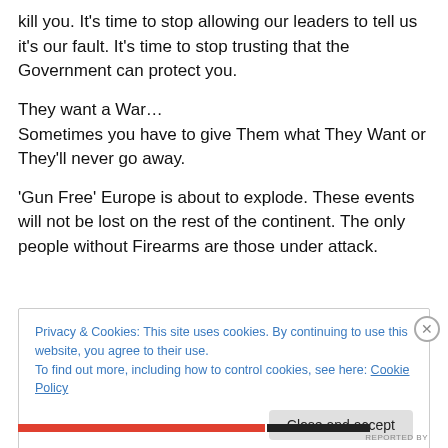kill you.  It's time to stop allowing our leaders to tell us it's our fault.  It's time to stop trusting that the Government can protect you.
They want a War…
Sometimes you have to give Them what They Want or They'll never go away.
'Gun Free' Europe is about to explode. These events will not be lost on the rest of the continent.  The only people without Firearms are those under attack.
Privacy & Cookies: This site uses cookies. By continuing to use this website, you agree to their use.
To find out more, including how to control cookies, see here: Cookie Policy
Close and accept